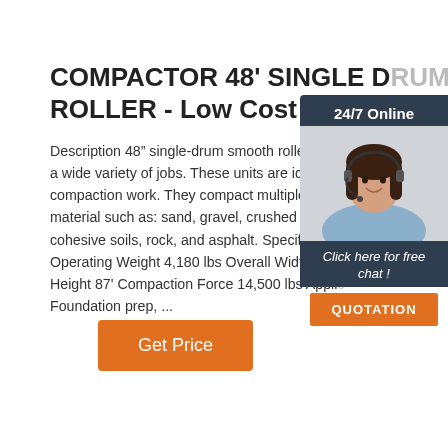COMPACTOR 48' SINGLE DRUM ROLLER - Low Cost Equipment
Description 48" single-drum smooth rollers are a wide variety of jobs. These units are ideal for compaction work. They compact multiple types of material such as: sand, gravel, crushed rock, cohesive soils, rock, and asphalt. Specifications Operating Weight 4,180 lbs Overall Width 51' Height 87' Compaction Force 14,500 lbs Applications Foundation prep, ...
[Figure (screenshot): 24/7 Online chat widget with a woman wearing a headset, with a 'Click here for free chat!' prompt and an orange QUOTATION button]
Get Price